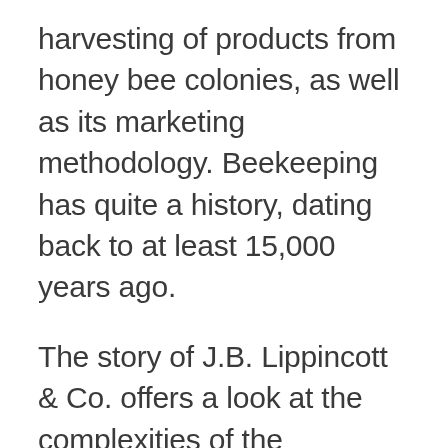harvesting of products from honey bee colonies, as well as its marketing methodology. Beekeeping has quite a history, dating back to at least 15,000 years ago.
The story of J.B. Lippincott & Co. offers a look at the complexities of the publishing industry. J.B. Lippincott & Co. was an American publishing house established in